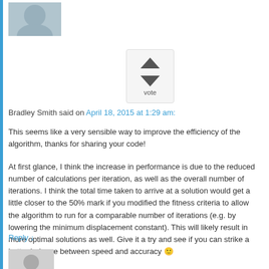[Figure (photo): Profile photo of Bradley Smith, a man with short hair]
[Figure (other): Vote widget with up and down arrow buttons and the label 'vote']
Bradley Smith said on April 18, 2015 at 1:29 am:
This seems like a very sensible way to improve the efficiency of the algorithm, thanks for sharing your code!
At first glance, I think the increase in performance is due to the reduced number of calculations per iteration, as well as the overall number of iterations. I think the total time taken to arrive at a solution would get a little closer to the 50% mark if you modified the fitness criteria to allow the algorithm to run for a comparable number of iterations (e.g. by lowering the minimum displacement constant). This will likely result in more optimal solutions as well. Give it a try and see if you can strike a better balance between speed and accuracy 🙂
Reply ↓
[Figure (illustration): Default avatar placeholder with grey background and silhouette figure]